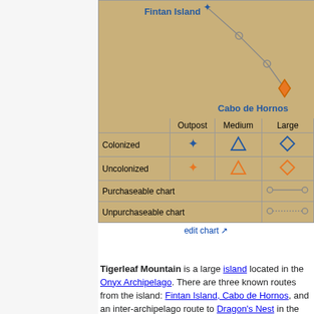[Figure (map): Map showing Fintan Island, Cabo de Hornos with route lines and location markers on a tan background.]
|  | Outpost | Medium | Large |
| --- | --- | --- | --- |
| Colonized | ✦ (blue cross) | △ (blue triangle) | ◇ (blue diamond) |
| Uncolonized | ✦ (orange cross) | △ (orange triangle) | ◇ (orange diamond) |
| Purchaseable chart |  |  | ○——○ |
| Unpurchaseable chart |  |  | ○·····○ |
edit chart
Tigerleaf Mountain is a large island located in the Onyx Archipelago. There are three known routes from the island: Fintan Island, Cabo de Hornos, and an inter-archipelago route to Dragon's Nest in the Jade Archipelago.
Contents [hide]
1 Natural resources
2 Buildings
3 Governors
4 History